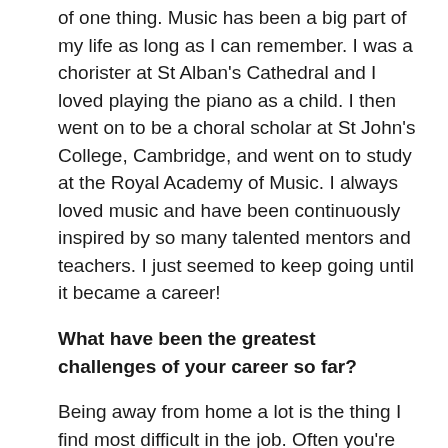of one thing. Music has been a big part of my life as long as I can remember. I was a chorister at St Alban's Cathedral and I loved playing the piano as a child. I then went on to be a choral scholar at St John's College, Cambridge, and went on to study at the Royal Academy of Music. I always loved music and have been continuously inspired by so many talented mentors and teachers. I just seemed to keep going until it became a career!
What have been the greatest challenges of your career so far?
Being away from home a lot is the thing I find most difficult in the job. Often you're away months at a time and that will inevitably mean missing family and friends.